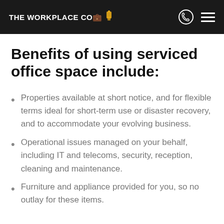THE WORKPLACE CO.
Benefits of using serviced office space include:
Properties available at short notice, and for flexible terms ideal for short-term use or disaster recovery, and to accommodate your evolving business.
Operational issues managed on your behalf, including IT and telecoms, security, reception, cleaning and maintenance.
Furniture and appliance provided for you, so no outlay for these items.